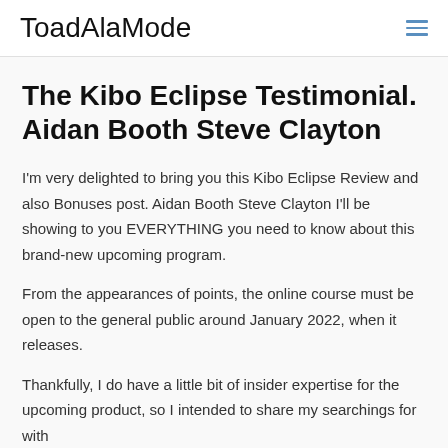ToadAlaMode
The Kibo Eclipse Testimonial. Aidan Booth Steve Clayton
I'm very delighted to bring you this Kibo Eclipse Review and also Bonuses post. Aidan Booth Steve Clayton I'll be showing to you EVERYTHING you need to know about this brand-new upcoming program.
From the appearances of points, the online course must be open to the general public around January 2022, when it releases.
Thankfully, I do have a little bit of insider expertise for the upcoming product, so I intended to share my searchings for with